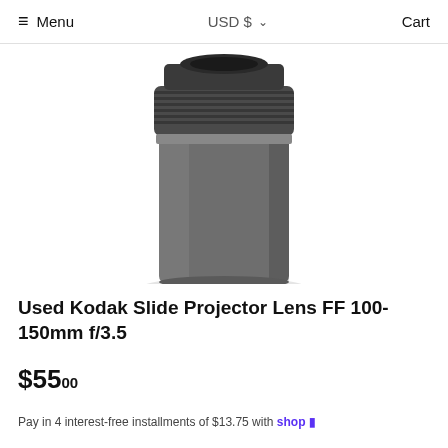≡ Menu   USD $  ∨   Cart
[Figure (photo): A used Kodak slide projector lens FF 100-150mm f/3.5, photographed from above on a white background. The lens is cylindrical and dark grey/black in color, with a textured grip ring near the top and a smooth barrel body.]
Used Kodak Slide Projector Lens FF 100-150mm f/3.5
$55.00
Pay in 4 interest-free installments of $13.75 with shop